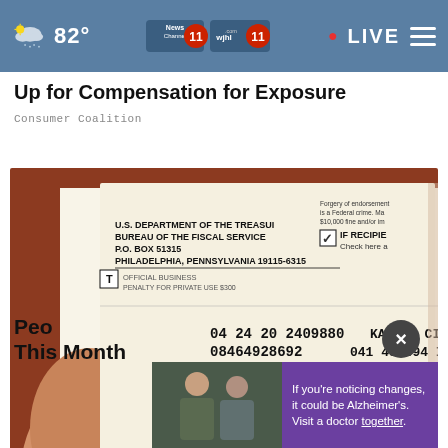82° | News Channel 11 | wjhl.com 11 | LIVE
Up for Compensation for Exposure
Consumer Coalition
[Figure (photo): A person holding a U.S. Treasury check from the Bureau of the Fiscal Service, P.O. Box 51315, Philadelphia, Pennsylvania 19115-6315. The check shows: 04 24 20 2409880, Kansas City, 08464928692, 041, 438494 I, John OE, 1234 Main Street, Anytown USA 81234 5678]
People This Month
If you're noticing changes, it could be Alzheimer's. Visit a doctor together.